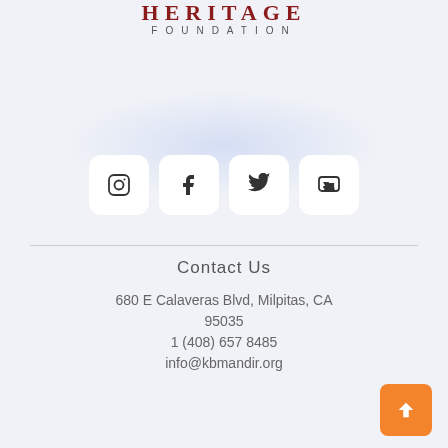[Figure (logo): Heritage Foundation logo with stylized text HERITAGE in dark red and FOUNDATION in gray spaced letters]
[Figure (other): Social media icons row: Instagram, Facebook, Twitter, YouTube — each in a white rounded square button on a light blue-gray background]
Contact Us
680 E Calaveras Blvd, Milpitas, CA 95035
1 (408) 657 8485
info@kbmandir.org